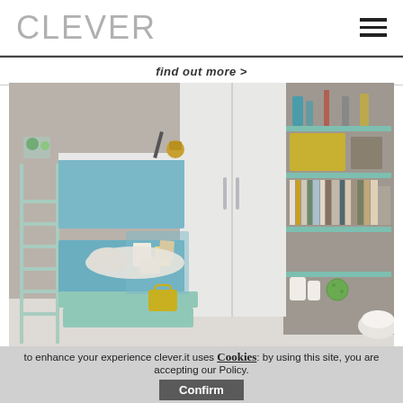CLEVER
find out more >
[Figure (photo): Children's bedroom with bunk beds in light blue, a ladder on the left side, a wall-mounted brass lamp, a corner wardrobe in white, and a tall bookshelf unit on the right filled with books, boxes, and decorative items. The room has a modern, Scandinavian-inspired design.]
to enhance your experience clever.it uses Cookies: by using this site, you are accepting our Policy.
Confirm